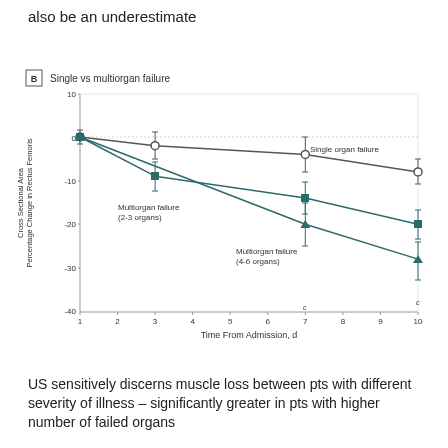also be an underestimate
[Figure (line-chart): B  Single vs multiorgan failure]
US sensitively discerns muscle loss between pts with different severity of illness – significantly greater in pts with higher number of failed organs